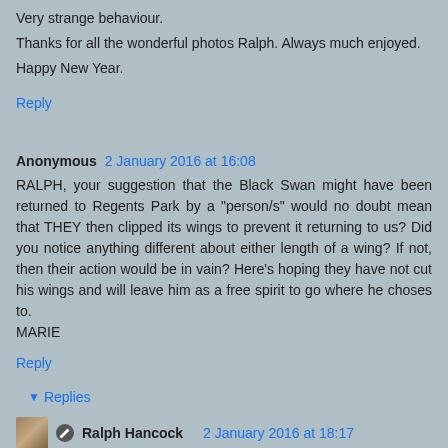Very strange behaviour.
Thanks for all the wonderful photos Ralph. Always much enjoyed.
Happy New Year.
Reply
Anonymous 2 January 2016 at 16:08
RALPH, your suggestion that the Black Swan might have been returned to Regents Park by a "person/s" would no doubt mean that THEY then clipped its wings to prevent it returning to us? Did you notice anything different about either length of a wing? If not, then their action would be in vain? Here's hoping they have not cut his wings and will leave him as a free spirit to go where he choses to.
MARIE
Reply
Replies
Ralph Hancock 2 January 2016 at 18:17